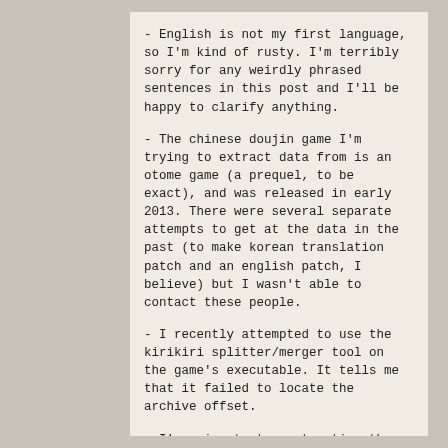- English is not my first language, so I'm kind of rusty. I'm terribly sorry for any weirdly phrased sentences in this post and I'll be happy to clarify anything.
- The chinese doujin game I'm trying to extract data from is an otome game (a prequel, to be exact), and was released in early 2013. There were several separate attempts to get at the data in the past (to make korean translation patch and an english patch, I believe) but I wasn't able to contact these people.
- I recently attempted to use the kirikiri splitter/merger tool on the game's executable. It tells me that it failed to locate the archive offset.
- I'm going to try extracting the data from the game with crass because I heard it was as good with excrypted archives like xp3viewer, but because I'm a noob hacker I would really appreciate it if somebody explained how I'd go about using crass (or any other tool) to tackle the game.
-The game in question is "月华", or "Yue Hua" an otome fangame based on the "Gintama" series.
- I've only extracted data archives from two other kirikiri2 games in the past, and both instances were relatively straightfoward so I managed it myself with a